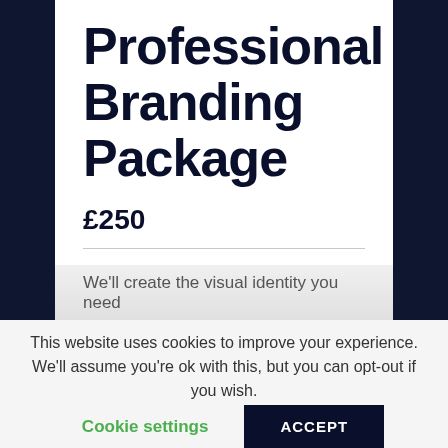Professional Branding Package
£250
We'll create the visual identity you need
This website uses cookies to improve your experience. We'll assume you're ok with this, but you can opt-out if you wish.
Cookie settings
ACCEPT